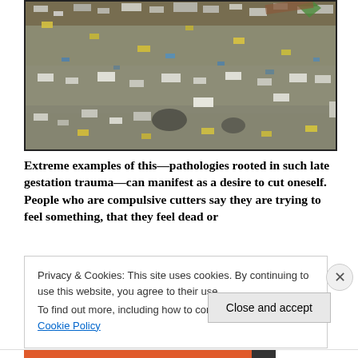[Figure (photo): Aerial or close-up photograph of a large mass of floating garbage and plastic waste debris covering a body of water or ground surface]
Extreme examples of this—pathologies rooted in such late gestation trauma—can manifest as a desire to cut oneself. People who are compulsive cutters say they are trying to feel something, that they feel dead or
Privacy & Cookies: This site uses cookies. By continuing to use this website, you agree to their use.
To find out more, including how to control cookies, see here: Cookie Policy